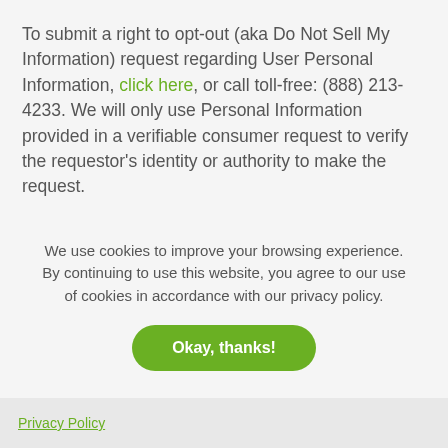To submit a right to opt-out (aka Do Not Sell My Information) request regarding User Personal Information, click here, or call toll-free: (888) 213-4233. We will only use Personal Information provided in a verifiable consumer request to verify the requestor's identity or authority to make the request.
We endeavor to respond to a verifiable consumer request within 45 days of its receipt.
We use cookies to improve your browsing experience. By continuing to use this website, you agree to our use of cookies in accordance with our privacy policy.
Okay, thanks!
Privacy Policy